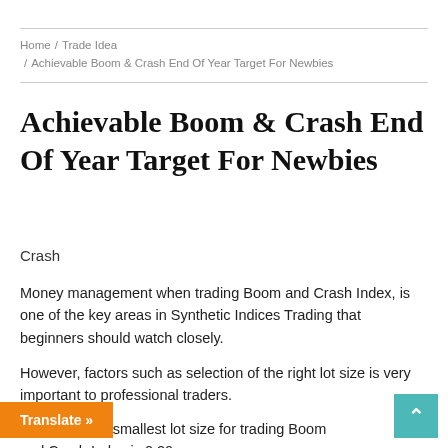Home / Trade Idea / Achievable Boom & Crash End Of Year Target For Newbies
Achievable Boom & Crash End Of Year Target For Newbies
Crash
Money management when trading Boom and Crash Index, is one of the key areas in Synthetic Indices Trading that beginners should watch closely.
However, factors such as selection of the right lot size is very important to professional traders.
Moreover, the smallest lot size for trading Boom and Crash Index is 0.20.